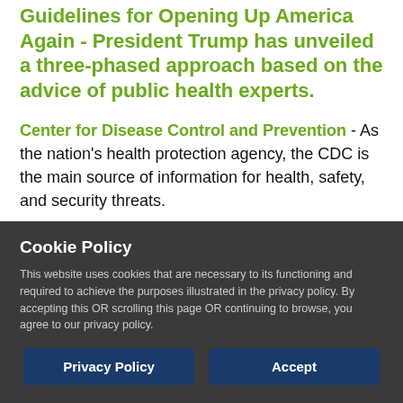Guidelines for Opening Up America Again - President Trump has unveiled a three-phased approach based on the advice of public health experts.
Center for Disease Control and Prevention - As the nation's health protection agency, the CDC is the main source of information for health, safety, and security threats.
Interim Guidance for Businesses and
Cookie Policy
This website uses cookies that are necessary to its functioning and required to achieve the purposes illustrated in the privacy policy. By accepting this OR scrolling this page OR continuing to browse, you agree to our privacy policy.